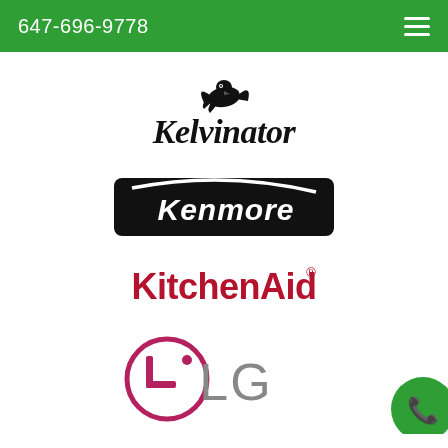647-696-9778
[Figure (logo): Kelvinator brand logo with stylized eagle/bird icon above italic bold text 'Kelvinator']
[Figure (logo): Kenmore brand logo — white italic text 'Kenmore' on black rounded-rectangle background with white swoosh]
[Figure (logo): KitchenAid® brand logo in bold dark red/maroon text]
[Figure (logo): LG brand logo — pink/magenta circle with stylized face, followed by large gray 'LG' text]